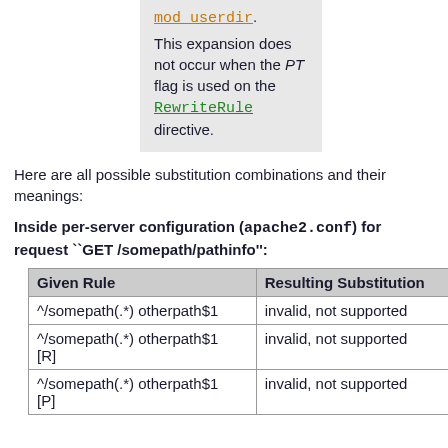mod_userdir. This expansion does not occur when the PT flag is used on the RewriteRule directive.
Here are all possible substitution combinations and their meanings:
Inside per-server configuration (apache2.conf) for request ``GET /somepath/pathinfo'':
| Given Rule | Resulting Substitution |
| --- | --- |
| ^/somepath(.*) otherpath$1 | invalid, not supported |
| ^/somepath(.*) otherpath$1 [R] | invalid, not supported |
| ^/somepath(.*) otherpath$1 [P] | invalid, not supported |